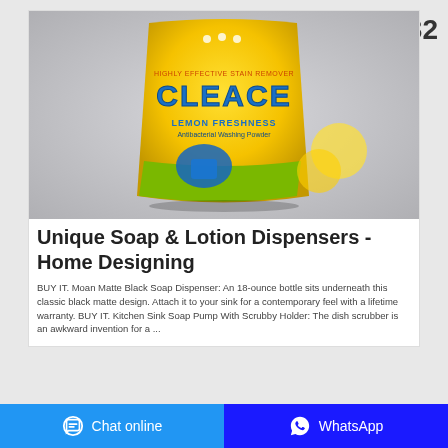[Figure (photo): Yellow bag of Cleace Lemon Freshness Antibacterial Washing Powder on a gray background]
Unique Soap & Lotion Dispensers - Home Designing
BUY IT. Moan Matte Black Soap Dispenser: An 18-ounce bottle sits underneath this classic black matte design. Attach it to your sink for a contemporary feel with a lifetime warranty. BUY IT. Kitchen Sink Soap Pump With Scrubby Holder: The dish scrubber is an awkward invention for a ...
Chat online   WhatsApp